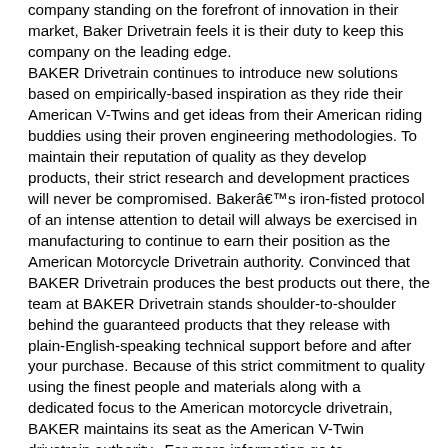company standing on the forefront of innovation in their market, Baker Drivetrain feels it is their duty to keep this company on the leading edge. BAKER Drivetrain continues to introduce new solutions based on empirically-based inspiration as they ride their American V-Twins and get ideas from their American riding buddies using their proven engineering methodologies. To maintain their reputation of quality as they develop products, their strict research and development practices will never be compromised. Bakerâ€™s iron-fisted protocol of an intense attention to detail will always be exercised in manufacturing to continue to earn their position as the American Motorcycle Drivetrain authority. Convinced that BAKER Drivetrain produces the best products out there, the team at BAKER Drivetrain stands shoulder-to-shoulder behind the guaranteed products that they release with plain-English-speaking technical support before and after your purchase. Because of this strict commitment to quality using the finest people and materials along with a dedicated focus to the American motorcycle drivetrain, BAKER maintains its seat as the American V-Twin drivetrain authority. For more information go to www.bakerdrivetrain.com